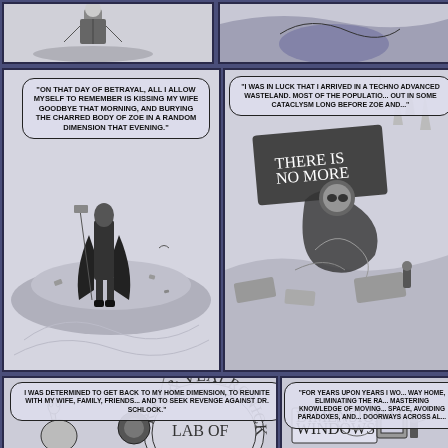[Figure (illustration): Comic book page with 6 panels in blue/purple borders. Top strip shows two partial panels. Middle left panel: figure in dark clothing standing on mound with shovel, speech bubble reads burial monologue. Middle right panel: post-apocalyptic wasteland scene with signs and rubble, speech bubble about techno-advanced wasteland. Bottom left panel: characters at Riff & Vealronick's Lab of Wonders sign, speech bubble about returning home. Bottom right panel: Dimensional Windows storefront, speech bubble about years searching.]